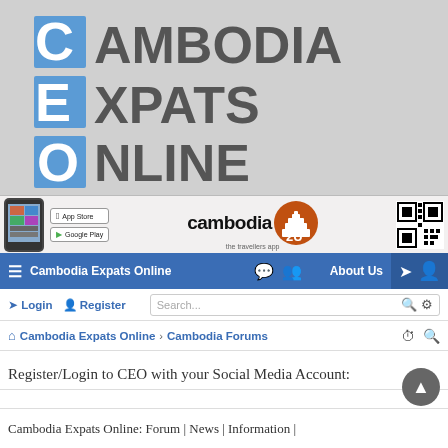[Figure (logo): Cambodia Expats Online logo with blue letter tiles C, E, O and grey text spelling CAMBODIA EXPATS ONLINE on grey background]
[Figure (illustration): Cambodia 2U app advertisement banner showing a phone, App Store and Google Play buttons, Cambodia 2U logo with temple icon, tagline 'the travellers app', and QR code]
Cambodia Expats Online   About Us
Login   Register   Search...
Cambodia Expats Online > Cambodia Forums
Register/Login to CEO with your Social Media Account:
Cambodia Expats Online: Forum | News | Information |